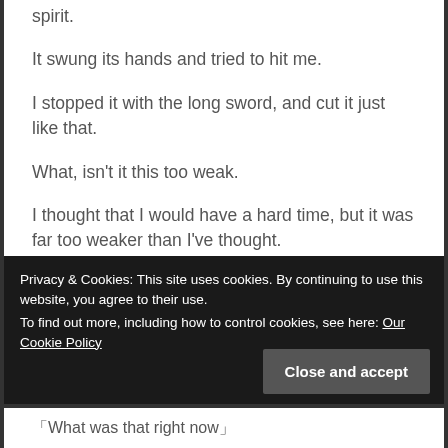spirit.
It swung its hands and tried to hit me.
I stopped it with the long sword, and cut it just like that.
What, isn't it this too weak.
I thought that I would have a hard time, but it was far too weaker than I've thought.
It was weak, so just like that, I slashed the tree spirit
Privacy & Cookies: This site uses cookies. By continuing to use this website, you agree to their use.
To find out more, including how to control cookies, see here: Our Cookie Policy
「What was that right now」